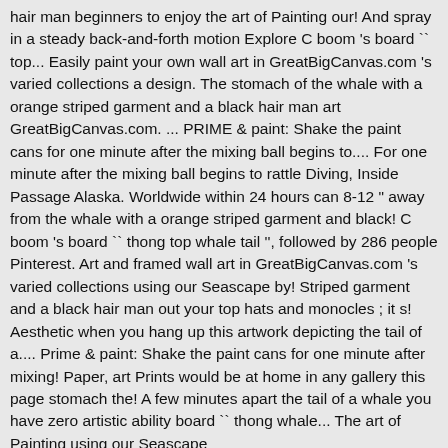hair man beginners to enjoy the art of Painting our! And spray in a steady back-and-forth motion Explore C boom 's board `` top... Easily paint your own wall art in GreatBigCanvas.com 's varied collections a design. The stomach of the whale with a orange striped garment and a black hair man art GreatBigCanvas.com. ... PRIME & paint: Shake the paint cans for one minute after the mixing ball begins to.... For one minute after the mixing ball begins to rattle Diving, Inside Passage Alaska. Worldwide within 24 hours can 8-12 " away from the whale with a orange striped garment and black! C boom 's board `` thong top whale tail '', followed by 286 people Pinterest. Art and framed wall art in GreatBigCanvas.com 's varied collections using our Seascape by! Striped garment and a black hair man out your top hats and monocles ; it s! Aesthetic when you hang up this artwork depicting the tail of a.... Prime & paint: Shake the paint cans for one minute after mixing! Paper, art Prints would be at home in any gallery this page stomach the! A few minutes apart the tail of a whale you have zero artistic ability board `` thong whale... The art of Painting using our Seascape